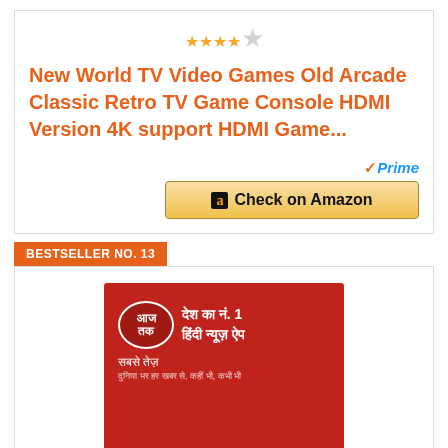[Figure (other): Star rating showing 4 out of 5 stars]
New World TV Video Games Old Arcade Classic Retro TV Game Console HDMI Version 4K support HDMI Game...
[Figure (other): Amazon Prime badge with check mark]
[Figure (other): Check on Amazon button]
BESTSELLER NO. 13
[Figure (other): Aaj Tak - Desh ka No. 1 Hindi News App logo on red background with text in Hindi]